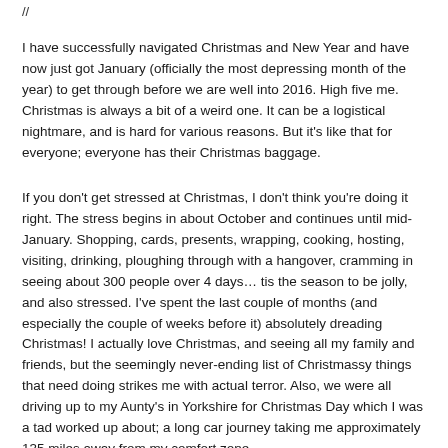//
I have successfully navigated Christmas and New Year and have now just got January (officially the most depressing month of the year) to get through before we are well into 2016. High five me. Christmas is always a bit of a weird one. It can be a logistical nightmare, and is hard for various reasons. But it's like that for everyone; everyone has their Christmas baggage.
If you don't get stressed at Christmas, I don't think you're doing it right. The stress begins in about October and continues until mid-January. Shopping, cards, presents, wrapping, cooking, hosting, visiting, drinking, ploughing through with a hangover, cramming in seeing about 300 people over 4 days… tis the season to be jolly, and also stressed. I've spent the last couple of months (and especially the couple of weeks before it) absolutely dreading Christmas! I actually love Christmas, and seeing all my family and friends, but the seemingly never-ending list of Christmassy things that need doing strikes me with actual terror. Also, we were all driving up to my Aunty's in Yorkshire for Christmas Day which I was a tad worked up about; a long car journey taking me approximately 135 miles away from my comfort zone.